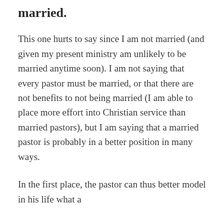married.
This one hurts to say since I am not married (and given my present ministry am unlikely to be married anytime soon). I am not saying that every pastor must be married, or that there are not benefits to not being married (I am able to place more effort into Christian service than married pastors), but I am saying that a married pastor is probably in a better position in many ways.
In the first place, the pastor can thus better model in his life what a Christian family should look like...